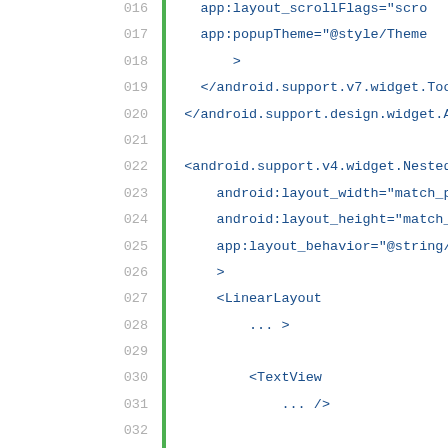[Figure (screenshot): Code editor showing XML layout code for an Android app, with line numbers 016-045 visible. Lines show NestedScrollView, LinearLayout, and multiple TextView elements with attributes. A green vertical bar separates line numbers from code. Code is in blue monospace font on white background.]